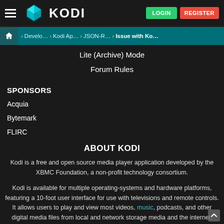KODI — LOGIN | REGISTER
Lite (Archive) Mode
Forum Rules
SPONSORS
Acquia
Bytemark
FLIRC
ABOUT KODI
Kodi is a free and open source media player application developed by the XBMC Foundation, a non-profit technology consortium.
Kodi is available for multiple operating-systems and hardware platforms, featuring a 10-foot user interface for use with televisions and remote controls. It allows users to play and view most videos, music, podcasts, and other digital media files from local and network storage media and the internet.